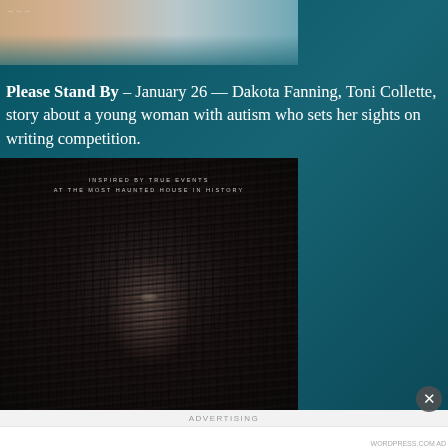[Figure (photo): Top portion of a movie poster showing a face, partially cropped, with skin tone and light blue background visible]
Please Stand By – January 26 — Dakota Fanning, Toni Collette, story about a young woman with autism who sets her sights on writing competition.
[Figure (photo): Horror movie poster with text 'INSPIRED BY TRUE EVENTS AT THE MOST HAUNTED HOUSE IN HISTORY' showing a face obscured by a dark veil or fabric with cracked texture visible]
ADVERTISING
Build a writing habit. Post on the go.
GET THE APP